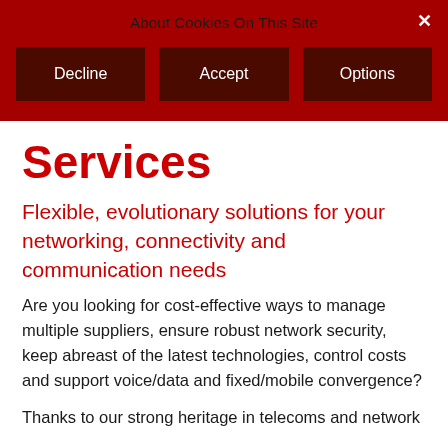About Cookies On This Site
Decline | Accept | Options
Services
Flexible, evolutionary solutions for your networking, connectivity and communication needs
Are you looking for cost-effective ways to manage multiple suppliers, ensure robust network security, keep abreast of the latest technologies, control costs and support voice/data and fixed/mobile convergence?
Thanks to our strong heritage in telecoms and network